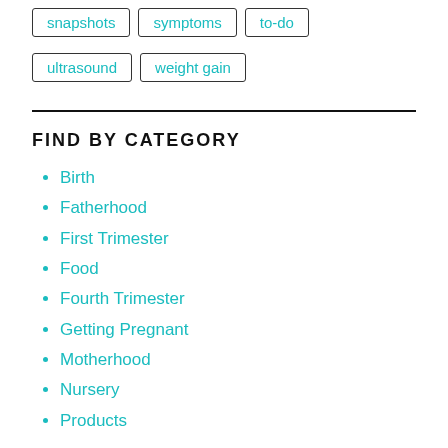snapshots
symptoms
to-do
ultrasound
weight gain
FIND BY CATEGORY
Birth
Fatherhood
First Trimester
Food
Fourth Trimester
Getting Pregnant
Motherhood
Nursery
Products